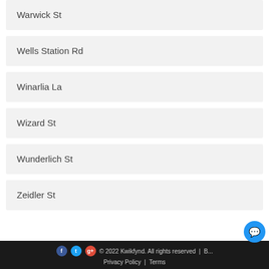Warwick St
Wells Station Rd
Winarlia La
Wizard St
Wunderlich St
Zeidler St
© 2022 Kwikfynd. All rights reserved  |  B...   Privacy Policy  |  Terms